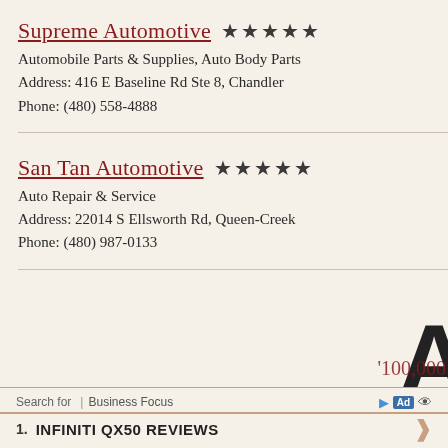Supreme Automotive ★★★★★
Automobile Parts & Supplies, Auto Body Parts
Address: 416 E Baseline Rd Ste 8, Chandler
Phone: (480) 558-4888
San Tan Automotive ★★★★★
Auto Repair & Service
Address: 22014 S Ellsworth Rd, Queen-Creek
Phone: (480) 987-0133
Search for | Business Focus
1. INFINITI QX50 REVIEWS